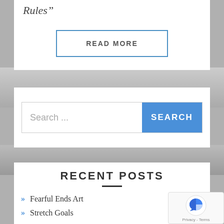Rules”
READ MORE
Search ...
RECENT POSTS
Fearful Ends Art
Stretch Goals